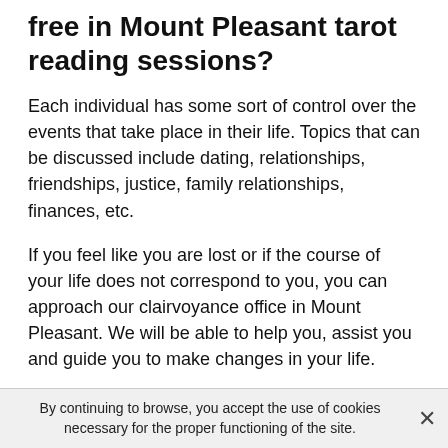free in Mount Pleasant tarot reading sessions?
Each individual has some sort of control over the events that take place in their life. Topics that can be discussed include dating, relationships, friendships, justice, family relationships, finances, etc.
If you feel like you are lost or if the course of your life does not correspond to you, you can approach our clairvoyance office in Mount Pleasant. We will be able to help you, assist you and guide you to make changes in your life.
It is not at all complicated to achieve this. If you have to take it step by step, do it as long as you feel good. Don't put too much stock in psychics who claim that everything they say is definite. Note that you don't need to have any
By continuing to browse, you accept the use of cookies necessary for the proper functioning of the site.